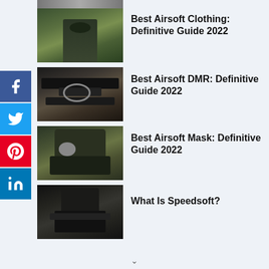[Figure (photo): Partial top image (cropped airsoft player)]
[Figure (photo): Airsoft player in field holding smoke grenade emitting blue smoke]
Best Airsoft Clothing: Definitive Guide 2022
[Figure (photo): Close-up of airsoft DMR rifle with scope and accessories]
Best Airsoft DMR: Definitive Guide 2022
[Figure (photo): Airsoft player wearing camouflage mask with goggles]
Best Airsoft Mask: Definitive Guide 2022
[Figure (photo): Speedsoft airsoft player in black gear aiming rifle]
What Is Speedsoft?